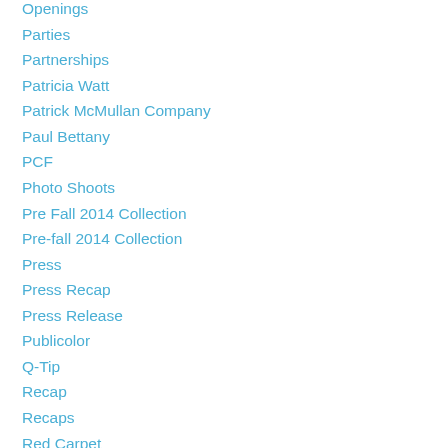Openings
Parties
Partnerships
Patricia Watt
Patrick McMullan Company
Paul Bettany
PCF
Photo Shoots
Pre Fall 2014 Collection
Pre-fall 2014 Collection
Press
Press Recap
Press Release
Publicolor
Q-Tip
Recap
Recaps
Red Carpet
Reed Krakoff
Reem Acra
Roger Goodell